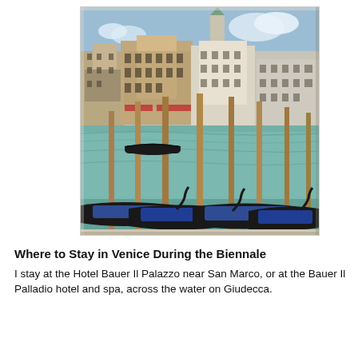[Figure (photo): Photograph of Venice, Italy showing gondolas moored in the foreground with wooden poles, the Grand Canal with teal-blue water, and historic Venetian buildings along the waterfront in the background, including a tall bell tower (campanile) with a green spire under a blue sky with white clouds.]
Where to Stay in Venice During the Biennale
I stay at the Hotel Bauer Il Palazzo near San Marco, or at the Bauer Il Palladio hotel and spa, across the water on Giudecca.